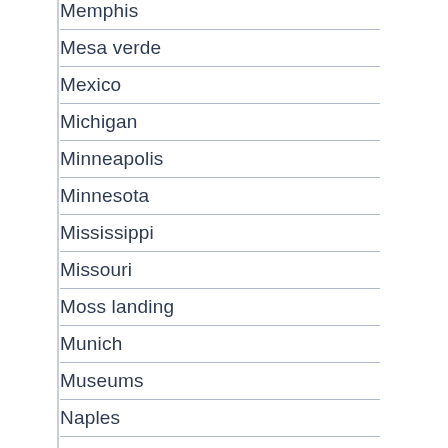Memphis
Mesa verde
Mexico
Michigan
Minneapolis
Minnesota
Mississippi
Missouri
Moss landing
Munich
Museums
Naples
Nashville
Nassau
Natchez